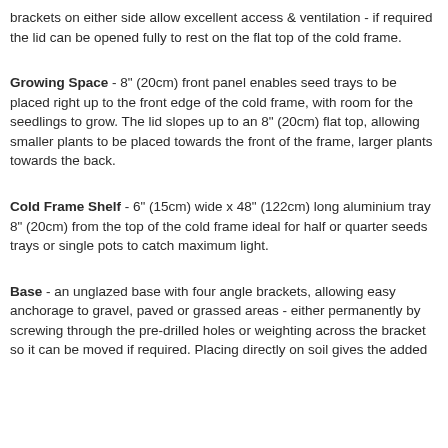brackets on either side allow excellent access & ventilation - if required the lid can be opened fully to rest on the flat top of the cold frame.
Growing Space - 8" (20cm) front panel enables seed trays to be placed right up to the front edge of the cold frame, with room for the seedlings to grow. The lid slopes up to an 8" (20cm) flat top, allowing smaller plants to be placed towards the front of the frame, larger plants towards the back.
Cold Frame Shelf - 6" (15cm) wide x 48" (122cm) long aluminium tray 8" (20cm) from the top of the cold frame ideal for half or quarter seeds trays or single pots to catch maximum light.
Base - an unglazed base with four angle brackets, allowing easy anchorage to gravel, paved or grassed areas - either permanently by screwing through the pre-drilled holes or weighting across the bracket so it can be moved if required. Placing directly on soil gives the added